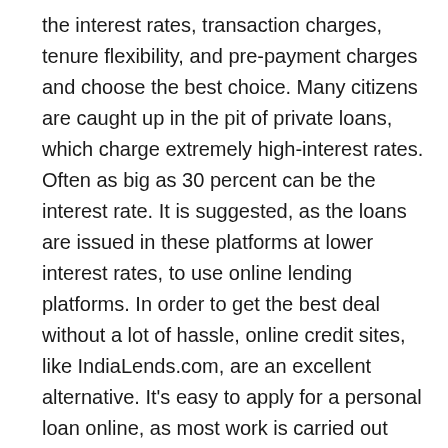the interest rates, transaction charges, tenure flexibility, and pre-payment charges and choose the best choice. Many citizens are caught up in the pit of private loans, which charge extremely high-interest rates. Often as big as 30 percent can be the interest rate. It is suggested, as the loans are issued in these platforms at lower interest rates, to use online lending platforms. In order to get the best deal without a lot of hassle, online credit sites, like IndiaLends.com, are an excellent alternative. It's easy to apply for a personal loan online, as most work is carried out online. Your application will be sent in conjunction with your profile to different banks and NBFCs, which make a lending decision after evaluating their application when you apply for an online personal loan. Online platforms like Creditboss operate without charging any extra fees or attached hidden costs.